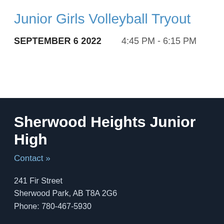Junior Girls Volleyball Tryout
SEPTEMBER 6 2022    4:45 PM - 6:15 PM
Sherwood Heights Junior High
Contact »
241 Fir Street
Sherwood Park, AB T8A 2G6
Phone: 780-467-5930